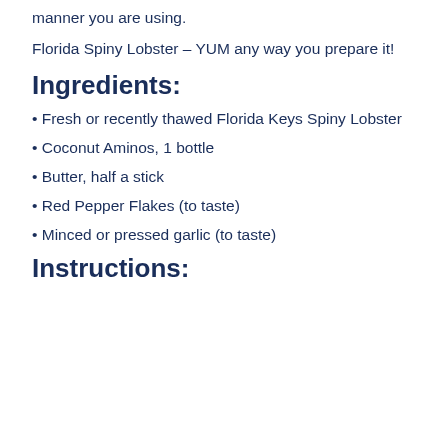manner you are using.
Florida Spiny Lobster – YUM any way you prepare it!
Ingredients:
Fresh or recently thawed Florida Keys Spiny Lobster
Coconut Aminos, 1 bottle
Butter, half a stick
Red Pepper Flakes (to taste)
Minced or pressed garlic (to taste)
Instructions: